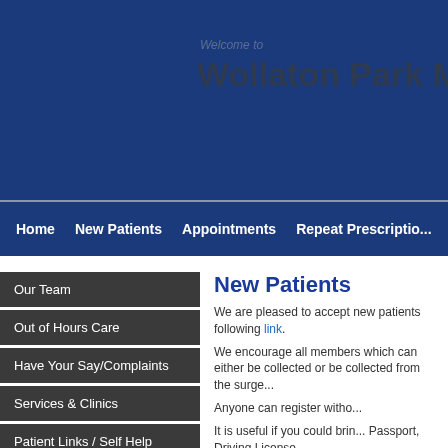Welcome to Wollaton Park Medi...
Home   New Patients   Appointments   Repeat Prescriptio...
Our Team
Out of Hours Care
Have Your Say/Complaints
Services & Clinics
Patient Links / Self Help
GDPR / Data & Privacy
Latest News
New Patients
We are pleased to accept new patients following link.
We encourage all members which can either be collected or be collected from the surge...
Anyone can register witho...
It is useful if you could brin... Passport, Driving License...
Information for New Pati...